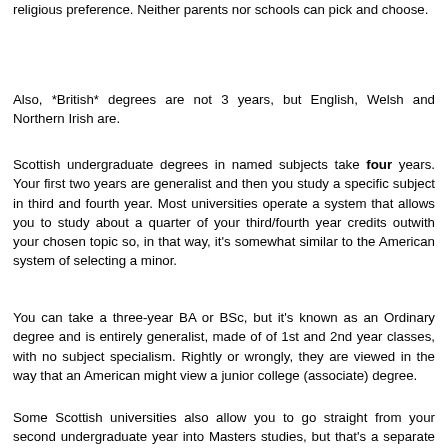religious preference. Neither parents nor schools can pick and choose.
Also, *British* degrees are not 3 years, but English, Welsh and Northern Irish are.
Scottish undergraduate degrees in named subjects take four years. Your first two years are generalist and then you study a specific subject in third and fourth year. Most universities operate a system that allows you to study about a quarter of your third/fourth year credits outwith your chosen topic so, in that way, it's somewhat similar to the American system of selecting a minor.
You can take a three-year BA or BSc, but it's known as an Ordinary degree and is entirely generalist, made of of 1st and 2nd year classes, with no subject specialism. Rightly or wrongly, they are viewed in the way that an American might view a junior college (associate) degree.
Some Scottish universities also allow you to go straight from your second undergraduate year into Masters studies, but that's a separate level of complexity not required for our